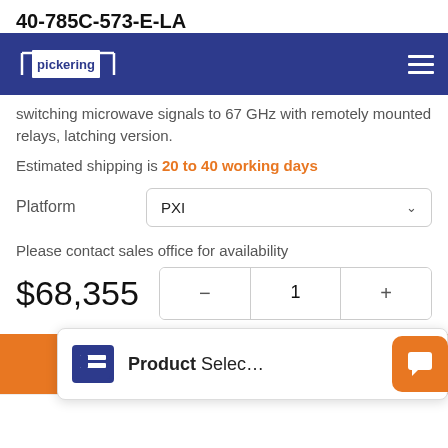40-785C-573-E-LA
Pickering navigation bar
switching microwave signals to 67 GHz with remotely mounted relays, latching version.
Estimated shipping is 20 to 40 working days
Platform  PXI
Please contact sales office for availability
$68,355
Product Selec…